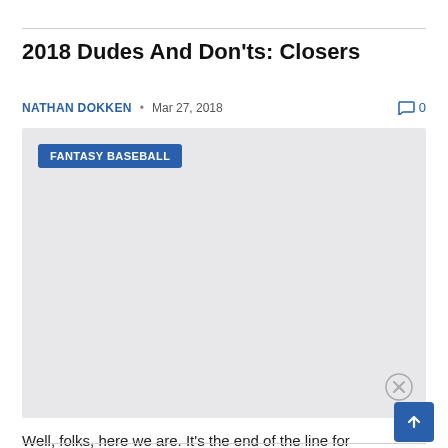2018 Dudes And Don'ts: Closers
NATHAN DOKKEN • Mar 27, 2018  💬 0
[Figure (other): Gray placeholder image with a 'FANTASY BASEBALL' label badge in dark blue at top-left and a close/X button circle at bottom-right.]
Well, folks, here we are. It's the end of the line for my 2018 Dudes and Don'ts, and it's my first foray into…